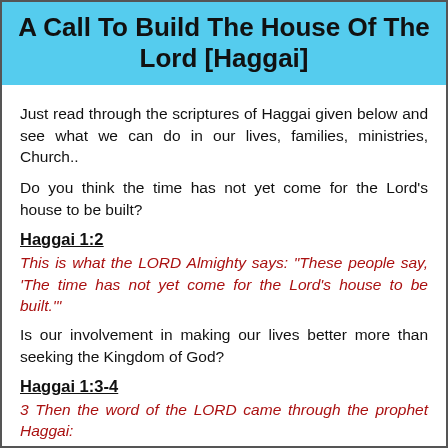A Call To Build The House Of The Lord [Haggai]
Just read through the scriptures of Haggai given below and see what we can do in our lives, families, ministries, Church..
Do you think the time has not yet come for the Lord's house to be built?
Haggai 1:2
This is what the LORD Almighty says: "These people say, 'The time has not yet come for the Lord's house to be built.'"
Is our involvement in making our lives better more than seeking the Kingdom of God?
Haggai 1:3-4
3 Then the word of the LORD came through the prophet Haggai:
4 "Is it a time for you yourselves to be living in your paneled houses, while this house remains a ruin?"